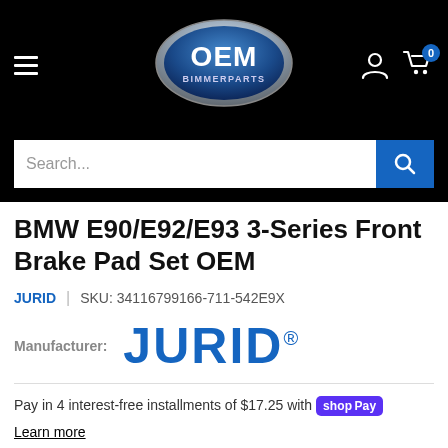[Figure (logo): OEM Bimmer Parts logo — blue oval with OEM text in white and BIMMERPARTS below, on black navigation header with hamburger menu, user icon and cart icon with badge 0]
Search...
BMW E90/E92/E93 3-Series Front Brake Pad Set OEM
JURID | SKU: 34116799166-711-542E9X
Manufacturer: JURID®
Pay in 4 interest-free installments of $17.25 with shop Pay
Learn more